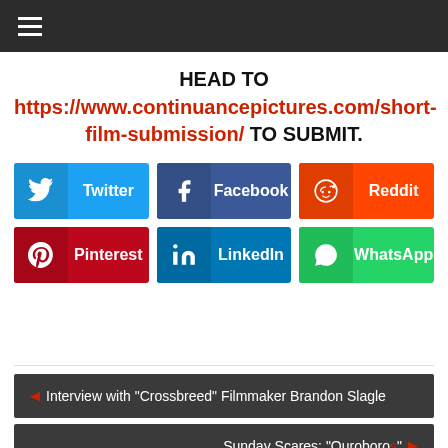≡
HEAD TO https://www.continuancepictures.com/short-film-submission/ TO SUBMIT.
[Figure (infographic): Six social share buttons: Twitter (blue), Facebook (dark blue), Reddit (orange), Pinterest (red), LinkedIn (teal blue), WhatsApp (green)]
◄ Interview with "Crossbreed" Filmmaker Brandon Slagle
Sunday Scares: "Ouroboros" ►